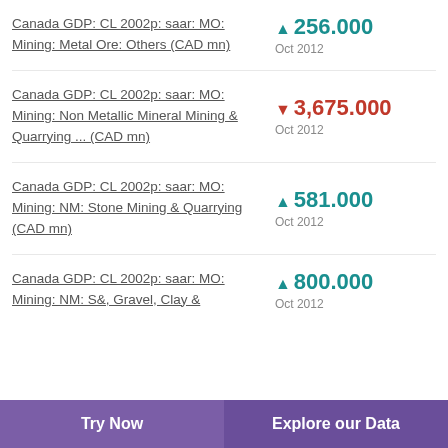Canada GDP: CL 2002p: saar: MO: Mining: Metal Ore: Others (CAD mn) ▲ 256.000 Oct 2012
Canada GDP: CL 2002p: saar: MO: Mining: Non Metallic Mineral Mining & Quarrying ... (CAD mn) ▼ 3,675.000 Oct 2012
Canada GDP: CL 2002p: saar: MO: Mining: NM: Stone Mining & Quarrying (CAD mn) ▲ 581.000 Oct 2012
Canada GDP: CL 2002p: saar: MO: Mining: NM: S&, Gravel, Clay & ▲ 800.000 Oct 2012
Try Now  |  Explore our Data